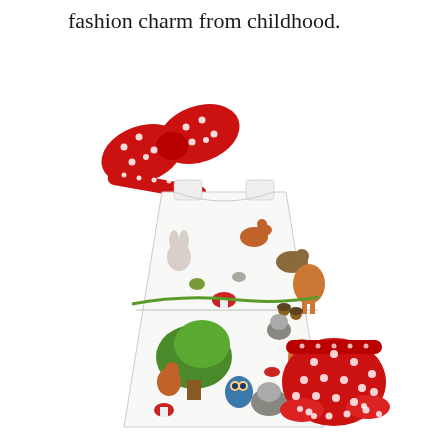fashion charm from childhood.
[Figure (photo): A children's clothing set laid flat on a white background, consisting of: a white A-line dress printed with woodland animals (foxes, deer, hedgehogs, owls, raccoons, rabbits, birds, trees, mushrooms), a red polka-dot bow headband, and red polka-dot bloomers/diaper cover.]